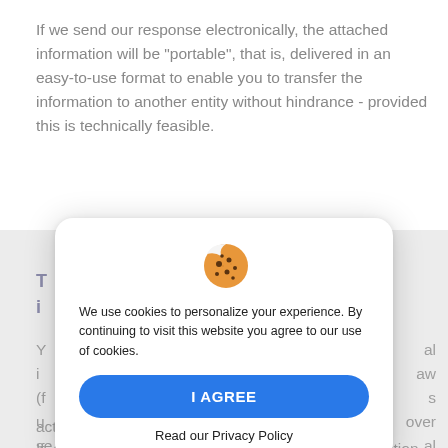If we send our response electronically, the attached information will be "portable", that is, delivered in an easy-to-use format to enable you to transfer the information to another entity without hindrance - provided this is technically feasible.
T... i...
Y... i... (f... u... se... activities, to exercise some rights. Etc.).
[Figure (screenshot): Cookie consent modal dialog with a cookie emoji, text 'We use cookies to personalize your experience. By continuing to visit this website you agree to our use of cookies.', a blue 'I AGREE' button, and a 'Read our Privacy Policy' link.]
If, as a result of exercising your right, no legal exception...